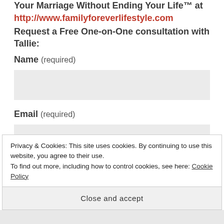Your Marriage Without Ending Your Life™ at http://www.familyforeverlifestyle.com Request a Free One-on-One consultation with Tallie:
Name (required)
[Figure (other): Empty form input field for Name]
Email (required)
[Figure (other): Empty form input field for Email]
Website
Privacy & Cookies: This site uses cookies. By continuing to use this website, you agree to their use. To find out more, including how to control cookies, see here: Cookie Policy
Close and accept